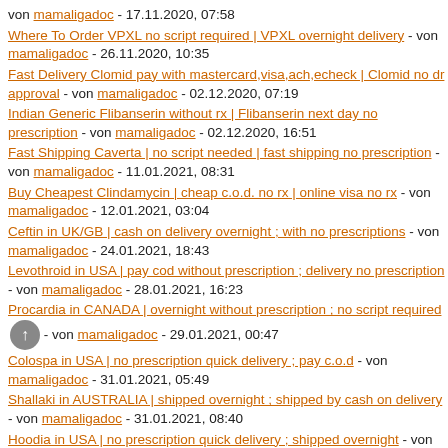von mamaligadoc - 17.11.2020, 07:58
Where To Order VPXL no script required | VPXL overnight delivery - von mamaligadoc - 26.11.2020, 10:35
Fast Delivery Clomid pay with mastercard,visa,ach,echeck | Clomid no dr approval - von mamaligadoc - 02.12.2020, 07:19
Indian Generic Flibanserin without rx | Flibanserin next day no prescription - von mamaligadoc - 02.12.2020, 16:51
Fast Shipping Caverta | no script needed | fast shipping no prescription - von mamaligadoc - 11.01.2021, 08:31
Buy Cheapest Clindamycin | cheap c.o.d. no rx | online visa no rx - von mamaligadoc - 12.01.2021, 03:04
Ceftin in UK/GB | cash on delivery overnight ; with no prescriptions - von mamaligadoc - 24.01.2021, 18:43
Levothroid in USA | pay cod without prescription ; delivery no prescription - von mamaligadoc - 28.01.2021, 16:23
Procardia in CANADA | overnight without prescription ; no script required - von mamaligadoc - 29.01.2021, 00:47
Colospa in USA | no prescription quick delivery ; pay c.o.d - von mamaligadoc - 31.01.2021, 05:49
Shallaki in AUSTRALIA | shipped overnight ; shipped by cash on delivery - von mamaligadoc - 31.01.2021, 08:40
Hoodia in USA | no prescription quick delivery ; shipped overnight - von mamaligadoc - 31.01.2021, 13:05